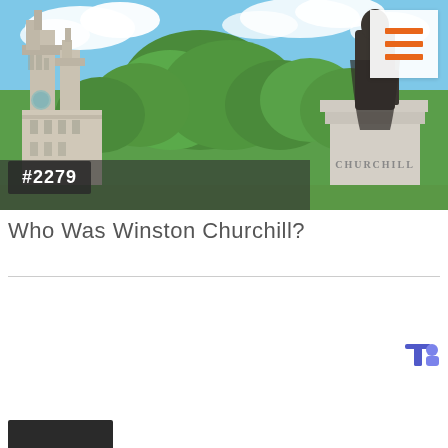[Figure (photo): Outdoor photo showing Westminster Abbey towers and green trees on left, Churchill statue on stone pedestal labeled CHURCHILL on right, with blue sky and clouds. Badge '#2279' in dark overlay bottom left. Hamburger menu icon top right in white box with orange lines.]
Who Was Winston Churchill?
[Figure (screenshot): Microsoft Teams icon, bottom right corner]
[Figure (photo): Partial dark image visible at bottom left, cropped at page edge]